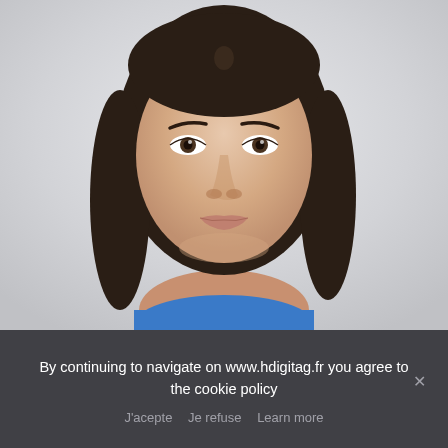[Figure (photo): Passport-style headshot photo of a young woman with dark hair, light skin, facing forward against a light grey/white background. She is wearing a blue top.]
By continuing to navigate on www.hdigitag.fr you agree to the cookie policy
J'acepte   Je refuse   Learn more